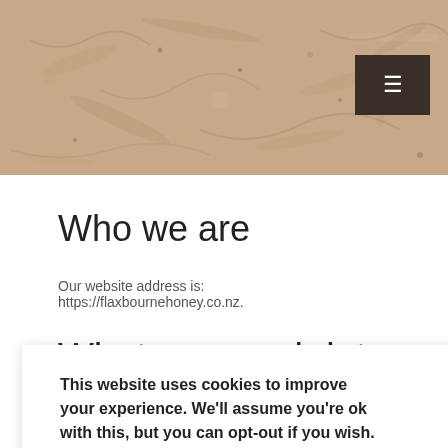[Figure (photo): Sandy/grainy textured background header image in beige/tan tones, with a dark hamburger menu button in the top-right corner]
Who we are
Our website address is: https://flaxbournehoney.co.nz.
What personal data we collect and why we collect it
This website uses cookies to improve your experience. We'll assume you're ok with this, but you can opt-out if you wish.
Cookie settings    ACCEPT
n to saving your se are for your details again when you leave another comment. These cookies will last for one